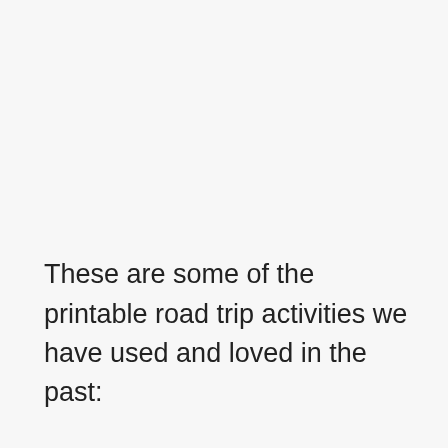These are some of the printable road trip activities we have used and loved in the past: